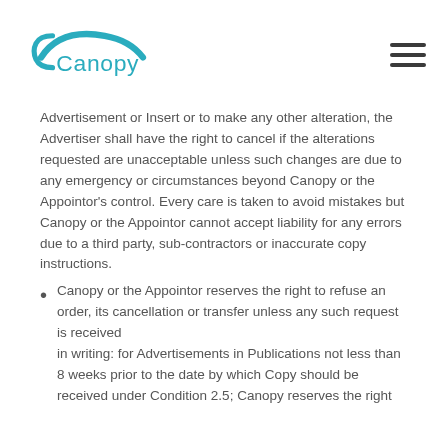Canopy logo and navigation menu
Advertisement or Insert or to make any other alteration, the Advertiser shall have the right to cancel if the alterations requested are unacceptable unless such changes are due to any emergency or circumstances beyond Canopy or the Appointor’s control. Every care is taken to avoid mistakes but Canopy or the Appointor cannot accept liability for any errors due to a third party, sub-contractors or inaccurate copy instructions.
Canopy or the Appointor reserves the right to refuse an order, its cancellation or transfer unless any such request is received in writing: for Advertisements in Publications not less than 8 weeks prior to the date by which Copy should be received under Condition 2.5; Canopy reserves the right